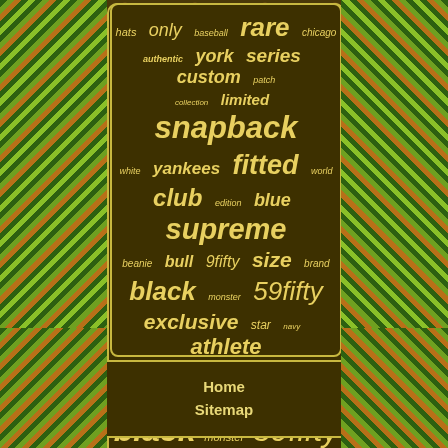[Figure (infographic): Word cloud with hat/cap related keywords in yellow italic text on dark olive/brown background, bordered by decorative paisley-style green and orange pattern on left and right sides. Keywords include: hats, only, baseball, rare, chicago, authentic, york, series, custom, patch, collection, limited, snapback, white, yankees, fitted, world, club, edition, blue, supreme, beanie, bull, 9fifty, size, brand, black, monster, 59fifty, exclusive, star, navy, athlete, logo, energy]
Home
Sitemap